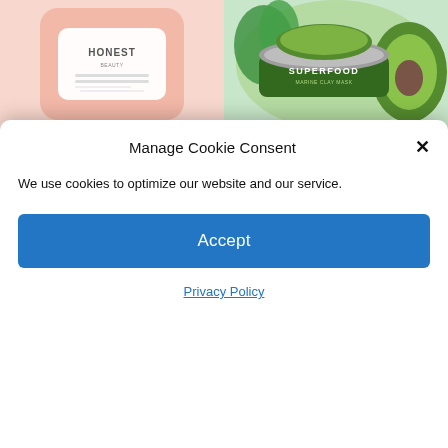[Figure (screenshot): Honest Beauty makeup remover wipes product image - pink packaging]
[Figure (screenshot): Superfood Marine Clay Mask product image - dark green jar with kale and avocado]
Beauty
$19.99
Manage Cookie Consent
We use cookies to optimize our website and our service.
Accept
Privacy Policy